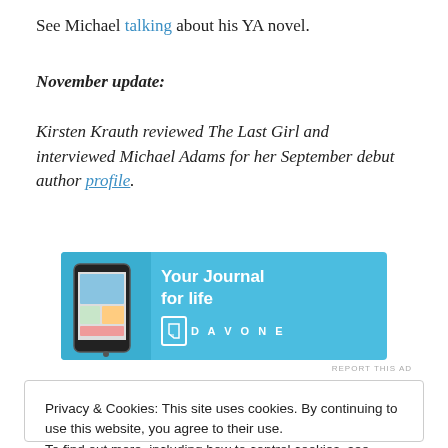See Michael talking about his YA novel.
November update:
Kirsten Krauth reviewed The Last Girl and interviewed Michael Adams for her September debut author profile.
[Figure (infographic): Advertisement banner for Day One journal app. Blue background with phone image on left, text 'Your Journal for life' in white, and Day One logo on right.]
REPORT THIS AD
Privacy & Cookies: This site uses cookies. By continuing to use this website, you agree to their use.
To find out more, including how to control cookies, see here: Cookie Policy
[Figure (photo): Bottom of page showing partial image with yellow/orange text on dark background reading 'UGAU']